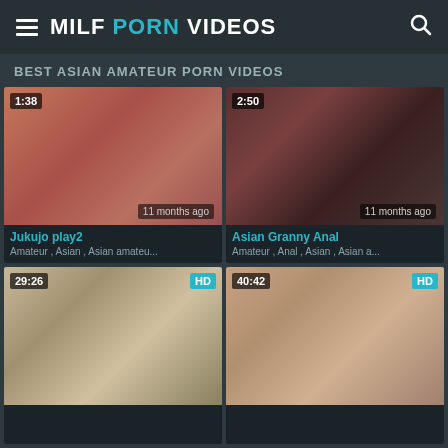MILF PORN VIDEOS
BEST ASIAN AMATEUR PORN VIDEOS
[Figure (screenshot): Video thumbnail showing close-up intimate content, duration 1:38, posted 11 months ago]
Jukujo play2 — Amateur, Asian, Asian amateu...
[Figure (screenshot): Video thumbnail showing woman in black lingerie, duration 2:50, posted 11 months ago]
Asian Granny Anal — Amateur, Anal, Asian, Asian a...
[Figure (screenshot): HD video thumbnail showing two people, duration 29:26]
[Figure (screenshot): HD video thumbnail showing woman, duration 40:42]